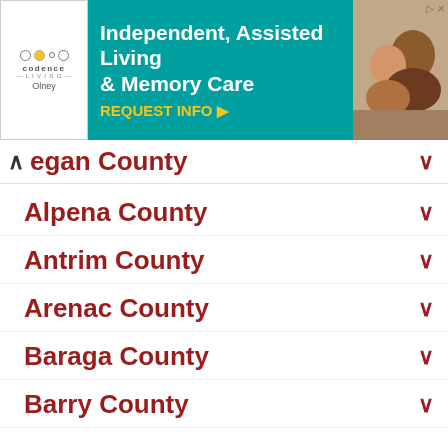[Figure (other): Advertisement banner for Codence Living Olney - Independent, Assisted Living & Memory Care with REQUEST INFO call to action]
egan County
Alpena County
Antrim County
Arenac County
Baraga County
Barry County
Bay County
Benzie County
Berrien County
Branch County